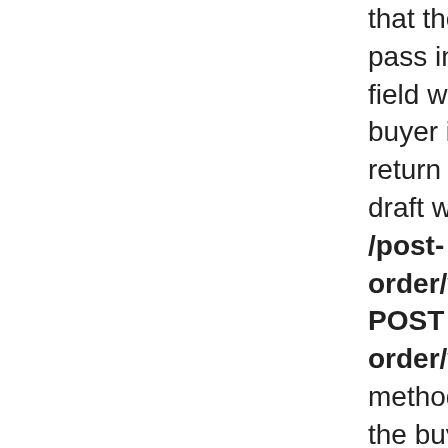that the buyer can pass in the type field when the buyer is creating a return request or draft with the POST /post-order/v2/return or POST /post-order/v2/return/draft methods. Indicates the buyer's desired outcome - money back for the order or a replacement item (in the case of a SNAP item)